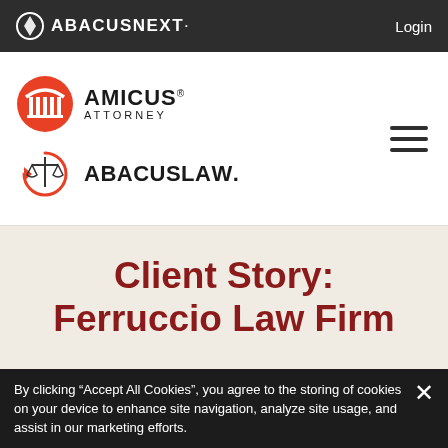ABACUSNEXT Login
[Figure (logo): Amicus Attorney logo with red shield icon and AMICUS ATTORNEY text]
[Figure (logo): AbacusLaw logo with scales of justice icon and ABACUSLAW text]
Client Story: Ferruccio Law Firm
By clicking “Accept All Cookies”, you agree to the storing of cookies on your device to enhance site navigation, analyze site usage, and assist in our marketing efforts.